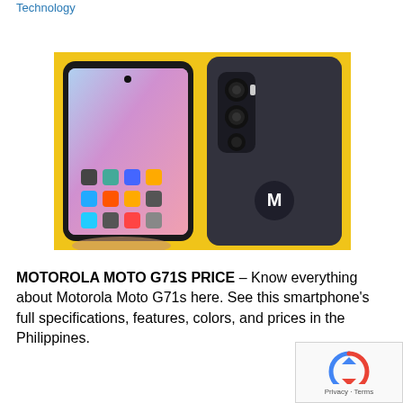Technology
[Figure (photo): Motorola Moto G71s smartphone shown from front (screen on with colorful gradient wallpaper and app icons, held in hand) and back (dark gray textured back panel with triple camera module and Motorola logo), against a yellow background.]
MOTOROLA MOTO G71S PRICE – Know everything about Motorola Moto G71s here. See this smartphone's full specifications, features, colors, and prices in the Philippines.